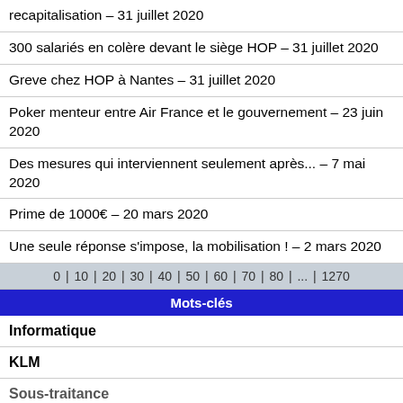recapitalisation – 31 juillet 2020
300 salariés en colère devant le siège HOP – 31 juillet 2020
Greve chez HOP à Nantes – 31 juillet 2020
Poker menteur entre Air France et le gouvernement – 23 juin 2020
Des mesures qui interviennent seulement après... – 7 mai 2020
Prime de 1000€ – 20 mars 2020
Une seule réponse s'impose, la mobilisation ! – 2 mars 2020
0 | 10 | 20 | 30 | 40 | 50 | 60 | 70 | 80 | ... | 1270
Mots-clés
Informatique
KLM
Sous-traitance